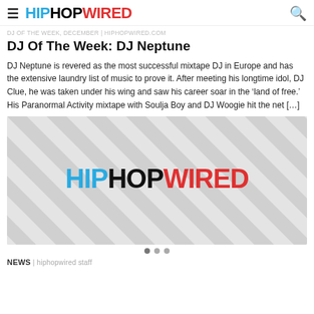HIPHOPWIRED
DJ OF THE WEEK, DECEMBER | hiphopwired.com
DJ Of The Week: DJ Neptune
DJ Neptune is revered as the most successful mixtape DJ in Europe and has the extensive laundry list of music to prove it. After meeting his longtime idol, DJ Clue, he was taken under his wing and saw his career soar in the ‘land of free.’ His Paranormal Activity mixtape with Soulja Boy and DJ Woogie hit the net […]
[Figure (logo): HipHopWired placeholder image with diagonal stripe pattern background and HIPHOPWIRED logo centered]
NEWS | hiphopwired staff